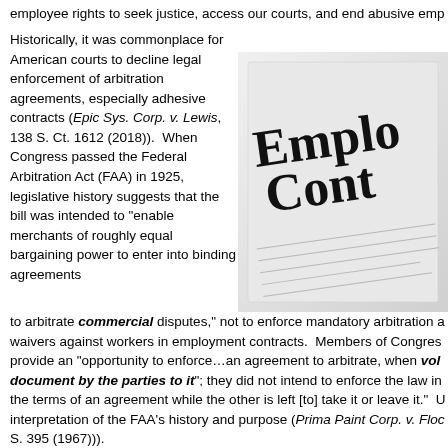employee rights to seek justice, access our courts, and end abusive emp
Historically, it was commonplace for American courts to decline legal enforcement of arbitration agreements, especially adhesive contracts (Epic Sys. Corp. v. Lewis, 138 S. Ct. 1612 (2018)).  When Congress passed the Federal Arbitration Act (FAA) in 1925, legislative history suggests that the bill was intended to "enable merchants of roughly equal bargaining power to enter into binding agreements to arbitrate commercial disputes," not to enforce mandatory arbitration waivers against workers in employment contracts.  Members of Congress provide an "opportunity to enforce…an agreement to arbitrate, when voluntarily document by the parties to it"; they did not intend to enforce the law in the terms of an agreement while the other is left [to] take it or leave it."  interpretation of the FAA's history and purpose (Prima Paint Corp. v. Flo S. 395 (1967))).
[Figure (photo): Close-up photo of an Employment Contract document with large bold text reading 'Employ Cont' visible, with contract text lines beneath]